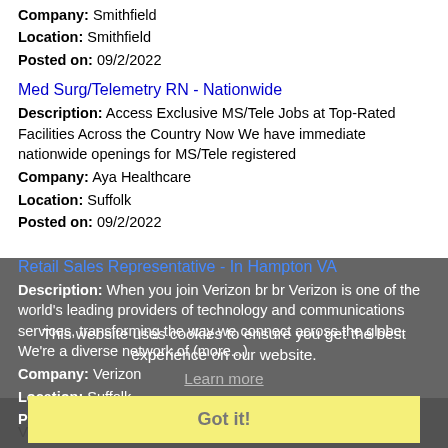Company: Smithfield
Location: Smithfield
Posted on: 09/2/2022
Med Surg/Telemetry RN - Nationwide
Description: Access Exclusive MS/Tele Jobs at Top-Rated Facilities Across the Country Now We have immediate nationwide openings for MS/Tele registered
Company: Aya Healthcare
Location: Suffolk
Posted on: 09/2/2022
Retail Sales Representative - In Hampton VA
Description: When you join Verizon br br Verizon is one of the world's leading providers of technology and communications services, transforming the way we connect across the globe. We're a diverse network of (more...)
Company: Verizon
Location: Suffolk
Posted on: 09/2/2022
This website uses cookies to ensure you get the best experience on our website.
Learn more
Got it!
Salary in Hampton, Virginia Area | More details for Hampton, Virginia Jobs |Salary